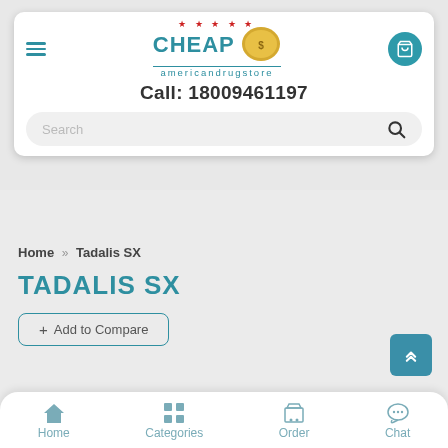CHEAP americandrugstore — Call: 18009461197
Search
Home >> Tadalis SX
TADALIS SX
+ Add to Compare
Home | Categories | Order | Chat